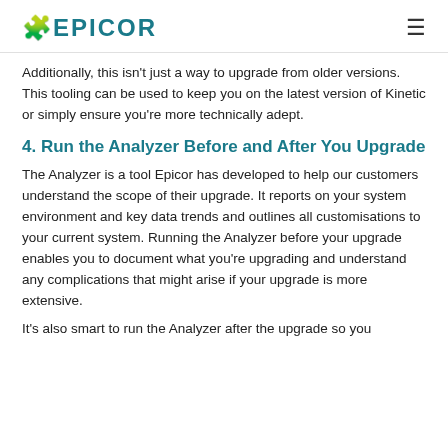EPICOR
Additionally, this isn't just a way to upgrade from older versions. This tooling can be used to keep you on the latest version of Kinetic or simply ensure you're more technically adept.
4. Run the Analyzer Before and After You Upgrade
The Analyzer is a tool Epicor has developed to help our customers understand the scope of their upgrade. It reports on your system environment and key data trends and outlines all customisations to your current system. Running the Analyzer before your upgrade enables you to document what you're upgrading and understand any complications that might arise if your upgrade is more extensive.
It's also smart to run the Analyzer after the upgrade so you